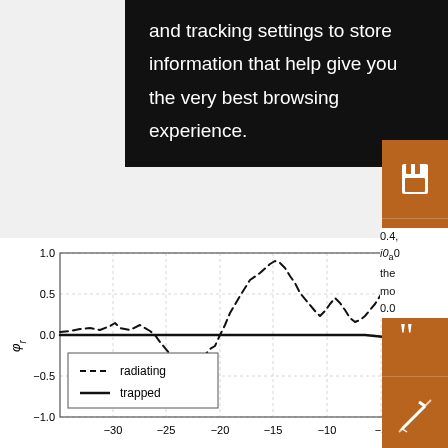and tracking settings to store information that help give you the very best browsing experience.
[Figure (continuous-plot): Line chart showing phi_r vs position for two modes: radiating (dashed) and trapped (solid). The radiating mode shows oscillations with a peak near -10 and trough near -20, while the trapped mode stays near zero then drops near -5. Y-axis from -1.0 to 1.0, x-axis from approximately -35 to -5.]
0.4,
i0a0
the
mo
0.0